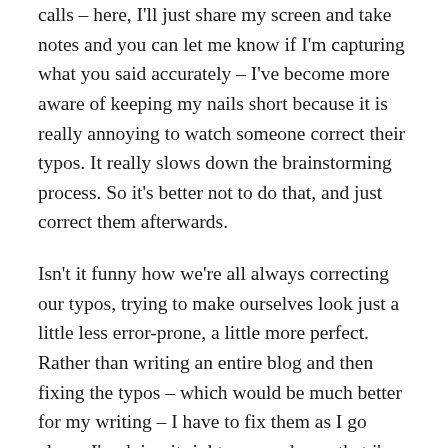calls – here, I'll just share my screen and take notes and you can let me know if I'm capturing what you said accurately – I've become more aware of keeping my nails short because it is really annoying to watch someone correct their typos. It really slows down the brainstorming process. So it's better not to do that, and just correct them afterwards.
Isn't it funny how we're all always correcting our typos, trying to make ourselves look just a little less error-prone, a little more perfect. Rather than writing an entire blog and then fixing the typos – which would be much better for my writing – I have to fix them as I go along. I'm doing it right now and now that i'm aware of it, it's making me crazy. And it makes me want to get up right now and get a nail done. I can't stop doing it.